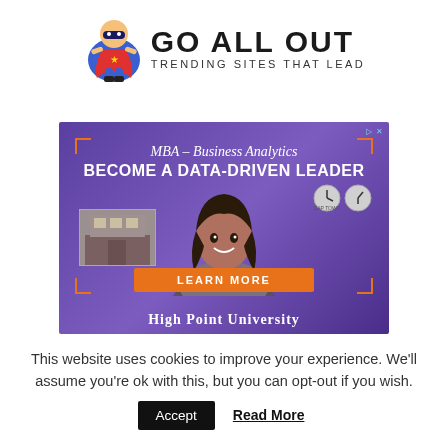[Figure (logo): Go All Out logo with superhero mascot. Text reads 'GO ALL OUT' in bold uppercase letters and 'TRENDING SITES THAT LEAD' as subtitle.]
[Figure (photo): Advertisement banner for High Point University MBA – Business Analytics program. Purple background with woman smiling, orange 'LEARN MORE' button, text 'MBA – Business Analytics', 'BECOME A DATA-DRIVEN LEADER', 'HIGH POINT UNIVERSITY'.]
This website uses cookies to improve your experience. We'll assume you're ok with this, but you can opt-out if you wish.
Accept   Read More